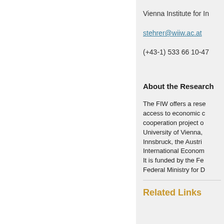Vienna Institute for In
stehrer@wiiw.ac.at
(+43-1) 533 66 10-47
About the Research
The FIW offers a rese access to economic c cooperation project o University of Vienna, Innsbruck, the Austri International Econom It is funded by the Fe Federal Ministry for D
Related Links